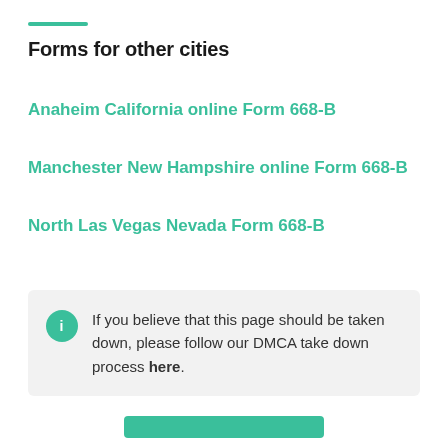Forms for other cities
Anaheim California online Form 668-B
Manchester New Hampshire online Form 668-B
North Las Vegas Nevada Form 668-B
If you believe that this page should be taken down, please follow our DMCA take down process here.